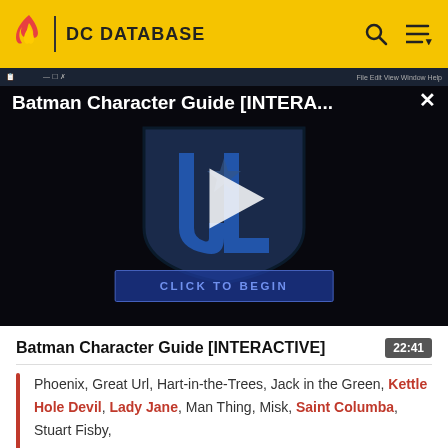DC DATABASE
[Figure (screenshot): Video thumbnail for Batman Character Guide [INTERACTIVE] showing a Justice League shield logo on dark background with a play button and 'CLICK TO BEGIN' button overlay]
Batman Character Guide [INTERACTIVE]
Phoenix, Great Url, Hart-in-the-Trees, Jack in the Green, Kettle Hole Devil, Lady Jane, Man Thing, Misk, Saint Columba, Stuart Fisby,